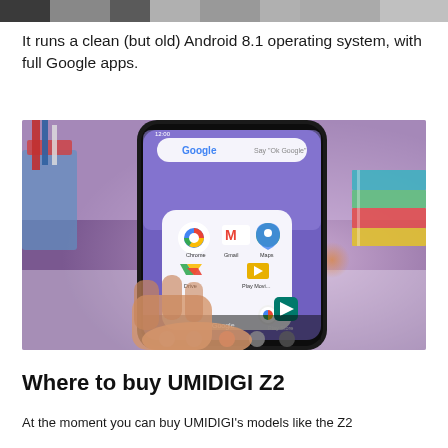[Figure (photo): Top portion of a photo, partially cropped at the top of the page]
It runs a clean (but old) Android 8.1 operating system, with full Google apps.
[Figure (photo): A hand holding a smartphone displaying Android home screen with Google apps including Chrome, Gmail, Maps, Google Drive, Play Store, and Photos icons. Colorful books stacked in background.]
Where to buy UMIDIGI Z2
At the moment you can buy UMIDIGI's models like the Z2